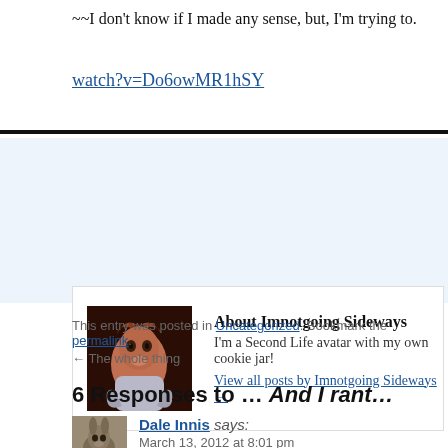~~I don't know if I made any sense, but, I'm trying to.
watch?v=Do6owMR1hSY
About Imnotgoing Sideways
I'm a Second Life avatar with my own cookie jar!
View all posts by Imnotgoing Sideways →
This entry was posted in Uncategorized. Bookmark the permalink.
← The whole thing
6 Responses to … And I rant…
Dale Innis says:
March 13, 2012 at 8:01 pm